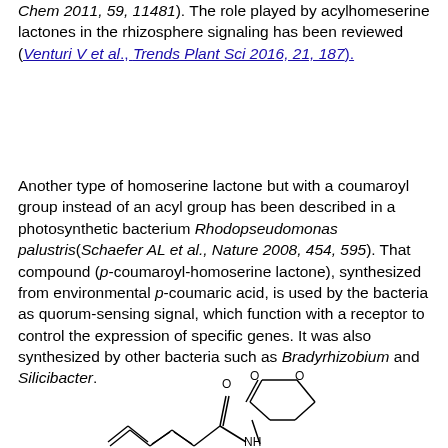Chem 2011, 59, 11481). The role played by acylhomeserine lactones in the rhizosphere signaling has been reviewed (Venturi V et al., Trends Plant Sci 2016, 21, 187).
Another type of homoserine lactone but with a coumaroyl group instead of an acyl group has been described in a photosynthetic bacterium Rhodopseudomonas palustris(Schaefer AL et al., Nature 2008, 454, 595). That compound (p-coumaroyl-homoserine lactone), synthesized from environmental p-coumaric acid, is used by the bacteria as quorum-sensing signal, which function with a receptor to control the expression of specific genes. It was also synthesized by other bacteria such as Bradyrhizobium and Silicibacter.
[Figure (illustration): Chemical structure of p-coumaroyl-homoserine lactone showing a phenyl ring connected via a conjugated double bond chain to an amide group (C=O, NH) linked to a homoserine lactone ring (5-membered ring with O and C=O).]